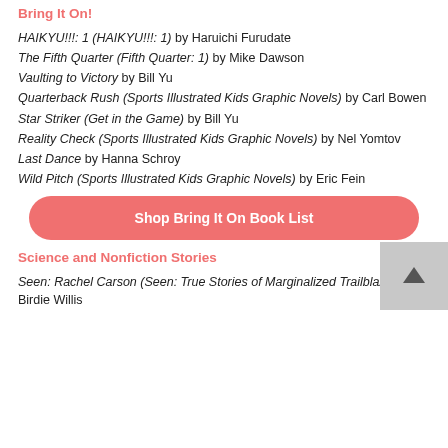Bring It On!
HAIKYU!!!: 1 (HAIKYU!!!: 1) by Haruichi Furudate
The Fifth Quarter (Fifth Quarter: 1) by Mike Dawson
Vaulting to Victory by Bill Yu
Quarterback Rush (Sports Illustrated Kids Graphic Novels) by Carl Bowen
Star Striker (Get in the Game) by Bill Yu
Reality Check (Sports Illustrated Kids Graphic Novels) by Nel Yomtov
Last Dance by Hanna Schroy
Wild Pitch (Sports Illustrated Kids Graphic Novels) by Eric Fein
[Figure (other): Salmon/coral rounded rectangle button with white bold text: Shop Bring It On Book List]
Science and Nonfiction Stories
Seen: Rachel Carson (Seen: True Stories of Marginalized Trailblazers) by Birdie Willis